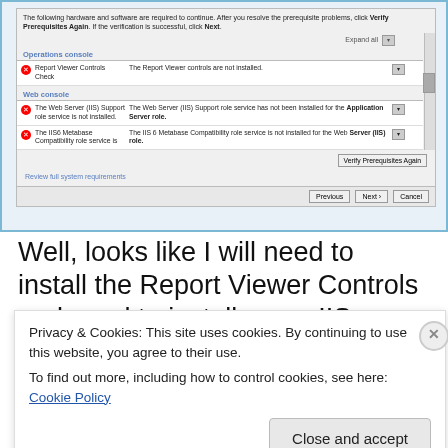[Figure (screenshot): Screenshot of a Windows setup prerequisite checker dialog showing errors: Report Viewer Controls not installed, Web Server (IIS) Support role service not installed, IIS 6 Metabase Compatibility role service not installed. Bottom has Verify Prerequisites Again button, Previous/Next/Cancel navigation, and a Review full system requirements link.]
Well, looks like I will need to install the Report Viewer Controls and need to install some IIS components for the
Privacy & Cookies: This site uses cookies. By continuing to use this website, you agree to their use.
To find out more, including how to control cookies, see here: Cookie Policy
Close and accept